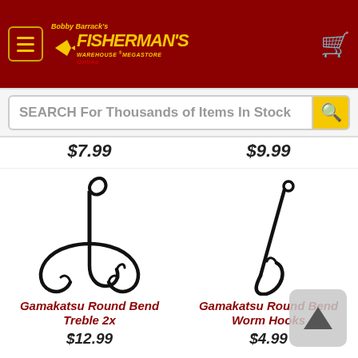Bobby Barrack's Fisherman's Warehouse Megastore Online
SEARCH For Thousands of Items In Stock
$7.99
$9.99
[Figure (illustration): Gamakatsu Round Bend Treble 2x fishing hook, black, treble hook with loop eye]
Gamakatsu Round Bend Treble 2x
$12.99
[Figure (illustration): Gamakatsu Round Bend Worm Hook, black, single hook with long shank and loop eye]
Gamakatsu Round Bend Worm Hooks
$4.99